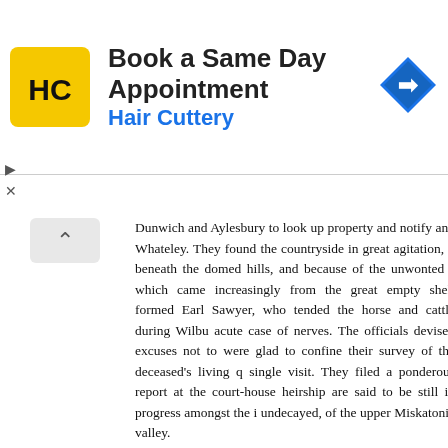[Figure (advertisement): Hair Cuttery advertisement banner with yellow logo showing 'HC' text, bold title 'Book a Same Day Appointment', subtitle 'Hair Cuttery' in blue, and blue diamond arrow navigation icon on the right.]
Dunwich and Aylesbury to look up property and notify any Whateley. They found the countryside in great agitation, beneath the domed hills, and because of the unwonted s which came increasingly from the great empty shell formed Earl Sawyer, who tended the horse and cattle during Wilbu acute case of nerves. The officials devised excuses not to were glad to confine their survey of the deceased's living q single visit. They filed a ponderous report at the court-house heirship are said to be still in progress amongst the undecayed, of the upper Miskatonic valley.
An almost interminable manuscript in strange characters a sort of diary because of the spacing and the variations in puzzle to those who found it on the old bureau which serve debate it was sent to Miskatonic University, together with the for study and possible translation; but even the best linguis unriddled with ease. No trace of the ancient gold with which their debts has yet been discovered.
It was in the dark of September 9th that the horror bro pronounced during the evening, and dogs barked frantically a peculiar stench in the air. About seven o'clock Luther Br between Cold Spring Glen and the village, rushed frenziedly Meadow with the cows. He was almost convulsed with fright the yard outside the no less frightened herd were pawing and back in the panic they shared with him. Between gasps Luth